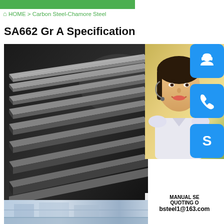HOME > Carbon Steel-Chamore Steel
SA662 Gr A Specification
[Figure (photo): Stack of dark carbon steel plates/sheets piled on top of each other, photographed at an angle showing the layered edges]
[Figure (photo): Customer service representative woman with headset smiling, overlaid with blue icon buttons for chat, phone, and Skype, and contact info showing MANUAL SERVICE, QUOTING ON, bsteel1@163.com]
[Figure (photo): Partial bottom image showing what appears to be a steel processing facility or warehouse]